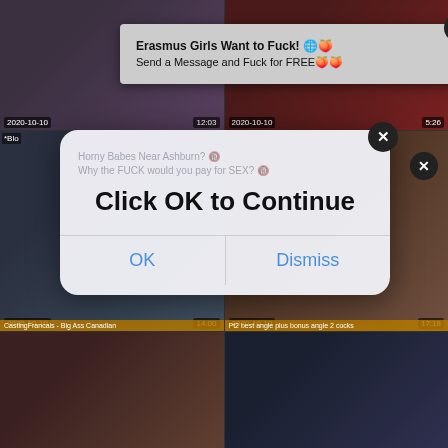[Figure (screenshot): Adult video thumbnail grid with popup ads overlaid. Top-left thumbnail date: 2020-10-10, duration 12:03. Top-right thumbnail date: 2020-10-10, duration 5:26. Middle-left thumbnail date: 2020-10-10, duration 14:00, label: CastingFrancais - Big Ass Canadian. Middle-right thumbnail date: 2020-10-10, duration 17:18, label: Pt2 best angle plus bonus angle 2 cocks. Bottom row two more thumbnails.]
Erasmus Girls Want to Fuck! 🌐🍑
Send a Message and Fuck for FREE🍑🍑
Horny Babes Near Ashburn? 🔞
Why the FUCK would you pay for SEX? 🔞
Click OK to Continue
OK
Dismiss